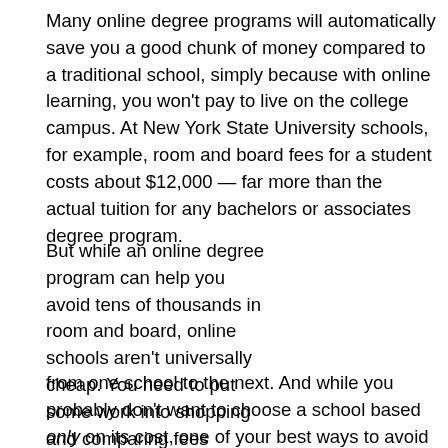Many online degree programs will automatically save you a good chunk of money compared to a traditional school, simply because with online learning, you won't pay to live on the college campus. At New York State University schools, for example, room and board fees for a student costs about $12,000 — far more than the actual tuition for any bachelors or associates degree program.
But while an online degree program can help you avoid tens of thousands in room and board, online schools aren't universally cheap. You need to put some work into shopping and comparing fees from one school to the next. And while you probably don't want to choose a school based only on its cost, one of your best ways to avoid getting saddled with too much student debt is to make sure you get the cheapest online
[Figure (photo): Photo of graduation ceremony with students in blue caps and gowns, overlaid with yellow italic bold text reading 'Affordable Online Bachelor's & Associate's Degrees']